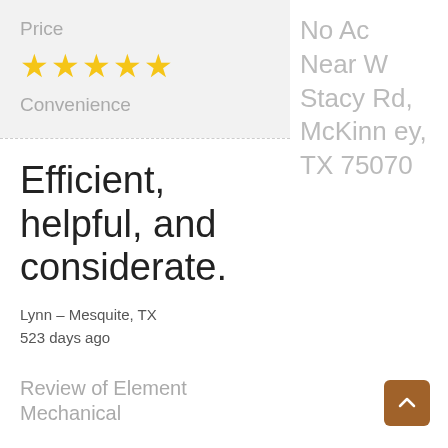Price
[Figure (other): Five gold star rating icons]
Convenience
Efficient, helpful, and considerate.
Lynn – Mesquite, TX
523 days ago
Review of Element
Mechanical
No Ac
Near W Stacy Rd, McKinney, TX 75070